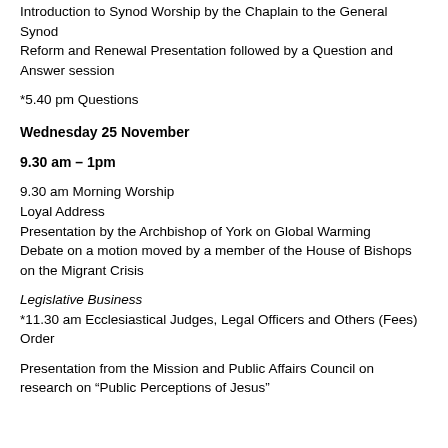Introduction to Synod Worship by the Chaplain to the General Synod
Reform and Renewal Presentation followed by a Question and Answer session
*5.40 pm Questions
Wednesday 25 November
9.30 am – 1pm
9.30 am Morning Worship
Loyal Address
Presentation by the Archbishop of York on Global Warming
Debate on a motion moved by a member of the House of Bishops on the Migrant Crisis
Legislative Business
*11.30 am Ecclesiastical Judges, Legal Officers and Others (Fees) Order
Presentation from the Mission and Public Affairs Council on research on “Public Perceptions of Jesus”